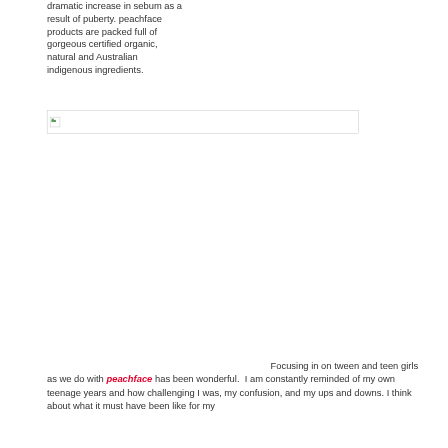dramatic increase in sebum as a result of puberty. peachface products are packed full of gorgeous certified organic, natural and Australian indigenous ingredients.
[Figure (other): Broken/placeholder image box with small image icon in top-left corner]
Focusing in on tween and teen girls as we do with peachface has been wonderful.  I am constantly reminded of my own teenage years and how challenging I was, my confusion, and my ups and downs. I think about what it must have been like for my